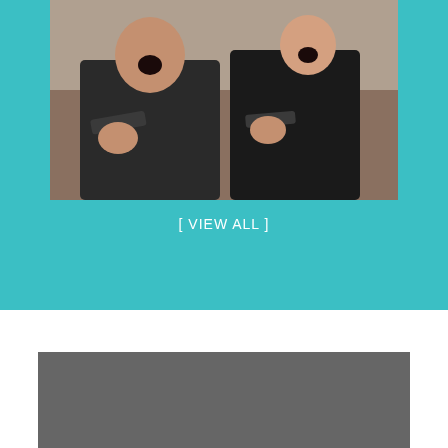[Figure (photo): Two men in dark clothing holding guns, appearing to shout/laugh, from what appears to be a TV show or movie scene]
[ VIEW ALL ]
[Figure (photo): Gray placeholder image at bottom of page]